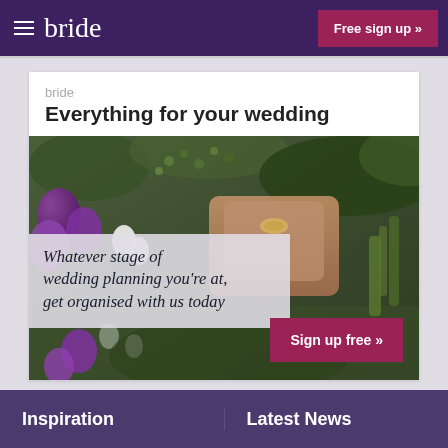bride  Free sign up »
bride
Everything for your wedding
[Figure (photo): Wedding photo showing hands with rings and wedding bouquet of purple and white flowers with greenery. Overlaid italic text reads: Whatever stage of wedding planning you're at, get organised with us today. A 'Sign up free »' button appears in the lower right.]
Inspiration
Latest News